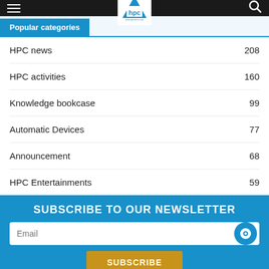HPC website header with logo, hamburger menu, and search icon
Popular categories
HPC news 208
HPC activities 160
Knowledge bookcase 99
Automatic Devices 77
Announcement 68
HPC Entertainments 59
SUBSCRIBE TO OUR NEWSLETTER
Email
SUBSCRIBE